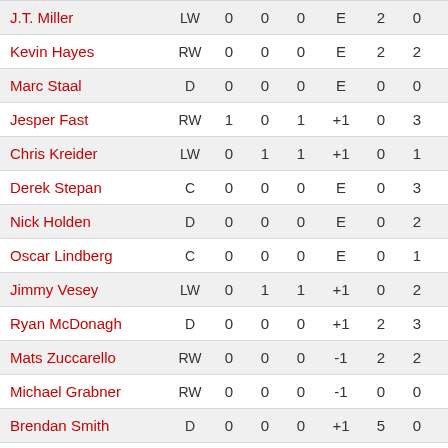| Player | Pos | G | A | Pts | +/- | PIM | Shots | TOI |
| --- | --- | --- | --- | --- | --- | --- | --- | --- |
| J.T. Miller | LW | 0 | 0 | 0 | E | 2 | 0 | 23:04 |
| Kevin Hayes | RW | 0 | 0 | 0 | E | 2 | 2 | 21:58 |
| Marc Staal | D | 0 | 0 | 0 | E | 0 | 0 | 21:39 |
| Jesper Fast | RW | 1 | 0 | 1 | +1 | 0 | 3 | 16:31 |
| Chris Kreider | LW | 0 | 1 | 1 | +1 | 0 | 1 | 14:41 |
| Derek Stepan | C | 0 | 0 | 0 | E | 0 | 3 | 24:02 |
| Nick Holden | D | 0 | 0 | 0 | E | 0 | 2 | 20:40 |
| Oscar Lindberg | C | 0 | 0 | 0 | E | 0 | 1 | 10:35 |
| Jimmy Vesey | LW | 0 | 1 | 1 | +1 | 0 | 2 | 18:04 |
| Ryan McDonagh | D | 0 | 0 | 0 | +1 | 2 | 3 | 30:41 |
| Mats Zuccarello | RW | 0 | 0 | 0 | -1 | 2 | 2 | 23:49 |
| Michael Grabner | RW | 0 | 0 | 0 | -1 | 0 | 0 | 12:17 |
| Brendan Smith | D | 0 | 0 | 0 | +1 | 5 | 0 | 22:29 |